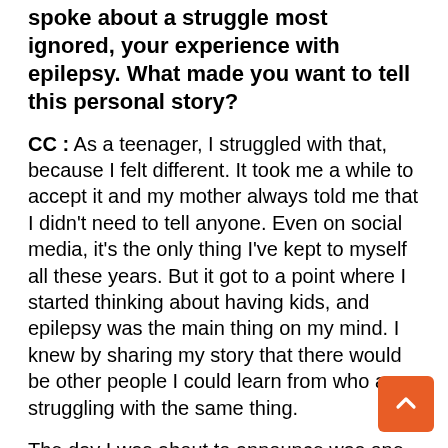spoke about a struggle most ignored, your experience with epilepsy. What made you want to tell this personal story?
CC : As a teenager, I struggled with that, because I felt different. It took me a while to accept it and my mother always told me that I didn't need to tell anyone. Even on social media, it's the only thing I've kept to myself all these years. But it got to a point where I started thinking about having kids, and epilepsy was the main thing on my mind. I knew by sharing my story that there would be other people I could learn from who are struggling with the same thing.
The day I was about to announce was one of the